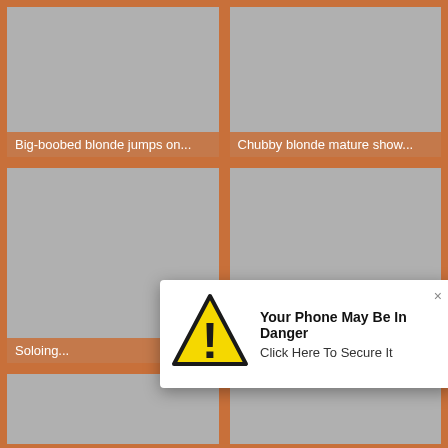[Figure (screenshot): Thumbnail grid of video content with orange borders on dark orange background. Row 1: two gray placeholder thumbnails with text labels. Row 2: two larger gray placeholder thumbnails with partial text labels. Row 3: two small gray placeholder thumbnails at the bottom.]
Big-boobed blonde jumps on...
Chubby blonde mature show...
Soloing...
[Figure (screenshot): Browser popup notification overlay: warning triangle icon (yellow/black), bold title 'Your Phone May Be In Danger', subtitle 'Click Here To Secure It', close X button in top-right corner.]